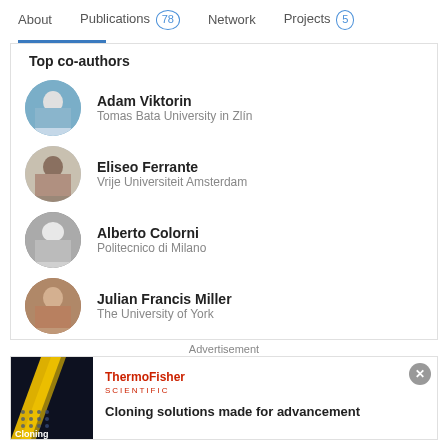About  Publications 78  Network  Projects 5
Top co-authors
Adam Viktorin
Tomas Bata University in Zlín
Eliseo Ferrante
Vrije Universiteit Amsterdam
Alberto Colorni
Politecnico di Milano
Julian Francis Miller
The University of York
Advertisement
[Figure (logo): ThermoFisher Scientific logo in red text]
Cloning solutions made for advancement